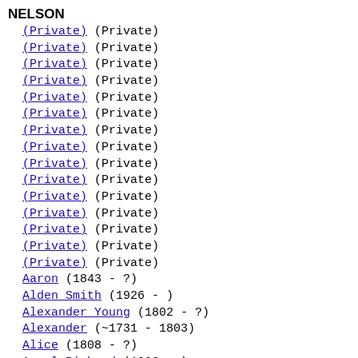NELSON
(Private) (Private)
(Private) (Private)
(Private) (Private)
(Private) (Private)
(Private) (Private)
(Private) (Private)
(Private) (Private)
(Private) (Private)
(Private) (Private)
(Private) (Private)
(Private) (Private)
(Private) (Private)
(Private) (Private)
(Private) (Private)
(Private) (Private)
Aaron (1843 - ?)
Alden Smith (1926 - )
Alexander Young (1802 - ?)
Alexander (~1731 - 1803)
Alice (1808 - ?)
Ansel Richard (1926 - )
Aubrey Peter (1897 - 1984)
Audrey Fatima (1919 - )
Bertha J. (1860 - 1940)